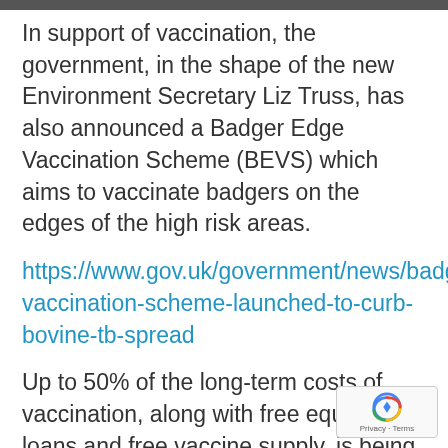In support of vaccination, the government, in the shape of the new Environment Secretary Liz Truss, has also announced a Badger Edge Vaccination Scheme (BEVS) which aims to vaccinate badgers on the edges of the high risk areas.
https://www.gov.uk/government/news/badge vaccination-scheme-launched-to-curb-bovine-tb-spread
Up to 50% of the long-term costs of vaccination, along with free equipment loans and free vaccine supply, is being